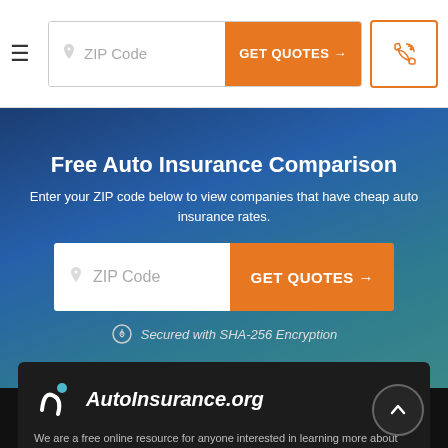[Figure (screenshot): Navigation bar with hamburger menu, ZIP code input field, orange GET QUOTES button, and phone icon button]
Free Auto Insurance Comparison
Enter your ZIP code below to view companies that have cheap auto insurance rates.
[Figure (screenshot): ZIP code input field with orange GET QUOTES button]
Secured with SHA-256 Encryption
[Figure (logo): AutoInsurance.org logo with stylized 'aj' icon]
We are a free online resource for anyone interested in learning more about auto insurance. Our goal is to be an objective, third-party resource for everything auto insurance related.